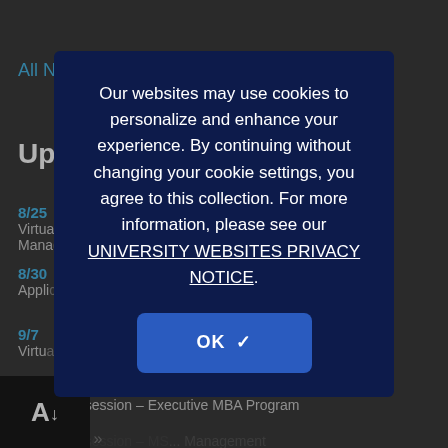home sale market
All News »
Upcoming Events
8/25
Virtual Infosession - [Real Estate] Asset Management Program
8/30
Application Deadline...
9/7
Virtual Infosession...
9/12
Virtual Infosession – Executive MBA Program
9/12
Virtual Infosession – MS... Management
All Events »
Our websites may use cookies to personalize and enhance your experience. By continuing without changing your cookie settings, you agree to this collection. For more information, please see our UNIVERSITY WEBSITES PRIVACY NOTICE.
OK ✓